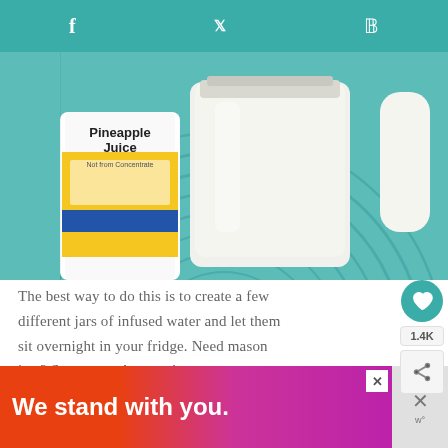f  t  p
[Figure (photo): A mason jar filled with creamy white liquid (pineapple juice infused water) next to a can of Pineapple Juice concentrate, on a teal woven placemat]
The best way to do this is to create a few different jars of infused water and let them sit overnight in your fridge. Need mason jars? Stock up on Amazon!
[Figure (infographic): What's Next panel showing thumbnail of citrus mint drink with text 'How to Create Citrus Mint...']
[Figure (infographic): Advertisement banner: 'We stand with you.' on orange-to-pink gradient background]